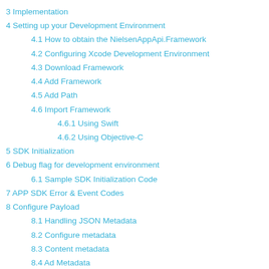3 Implementation
4 Setting up your Development Environment
4.1 How to obtain the NielsenAppApi.Framework
4.2 Configuring Xcode Development Environment
4.3 Download Framework
4.4 Add Framework
4.5 Add Path
4.6 Import Framework
4.6.1 Using Swift
4.6.2 Using Objective-C
5 SDK Initialization
6 Debug flag for development environment
6.1 Sample SDK Initialization Code
7 APP SDK Error & Event Codes
8 Configure Payload
8.1 Handling JSON Metadata
8.2 Configure metadata
8.3 Content metadata
8.4 Ad Metadata
8.5 Example Ad Object
9 Configure API Calls
9.1 Sample API Sequence
9.2 SDK Events
9.3 Life cycle of SDK instance